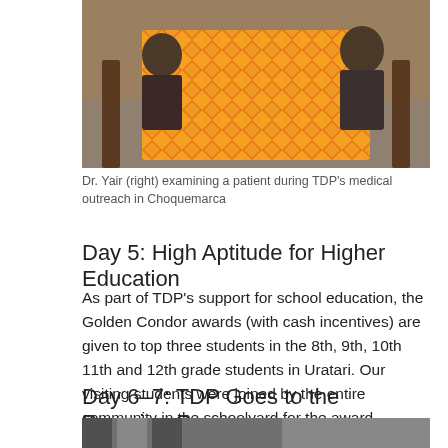[Figure (photo): Photo of Dr. Yair (right) examining a patient during TDP's medical outreach in Choquemarca. A colorful orange/yellow patterned cloth covers a table in the foreground.]
Dr. Yair (right) examining a patient during TDP’s medical outreach in Choquemarca
Day 5: High Aptitude for Higher Education
As part of TDP’s support for school education, the Golden Condor awards (with cash incentives) are given to top three students in the 8th, 9th, 10th 11th and 12th grade students in Uratari. Our visiting students were joined by the entire community in the schoolyard for the award ceremony.
Day 6–7: TDP Goes to the Peruvian Congress
[Figure (photo): Partial photo at the bottom of the page, partially cut off.]